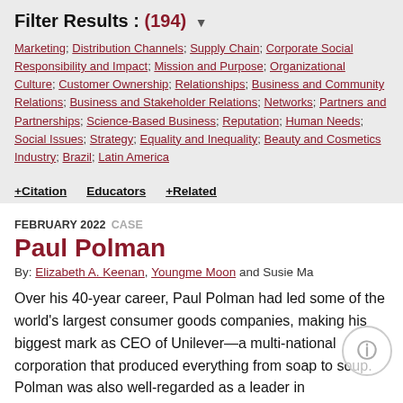Filter Results : (194) ▼
Marketing; Distribution Channels; Supply Chain; Corporate Social Responsibility and Impact; Mission and Purpose; Organizational Culture; Customer Ownership; Relationships; Business and Community Relations; Business and Stakeholder Relations; Networks; Partners and Partnerships; Science-Based Business; Reputation; Human Needs; Social Issues; Strategy; Equality and Inequality; Beauty and Cosmetics Industry; Brazil; Latin America
+ Citation   Educators   + Related
FEBRUARY 2022  CASE
Paul Polman
By: Elizabeth A. Keenan, Youngme Moon and Susie Ma
Over his 40-year career, Paul Polman had led some of the world's largest consumer goods companies, making his biggest mark as CEO of Unilever—a multi-national corporation that produced everything from soap to soup. Polman was also well-regarded as a leader in